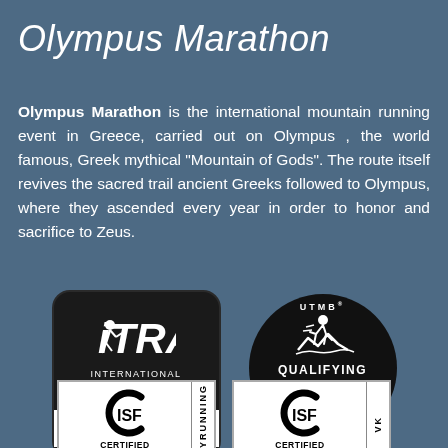Olympus Marathon
Olympus Marathon is the international mountain running event in Greece, carried out on Olympus , the world famous, Greek mythical “Mountain of Gods”. The route itself revives the sacred trail ancient Greeks followed to Olympus, where they ascended every year in order to honor and sacrifice to Zeus.
[Figure (logo): ITRA International Trail Running Association MEMBER badge (dark rounded rectangle with white text)]
[Figure (logo): UTMB Qualifying Race 2021 circular black badge with runner icon]
[Figure (logo): ISF Certified Course 2021 SKYRUNNING badge]
[Figure (logo): ISF Certified Course 2021 VK badge]